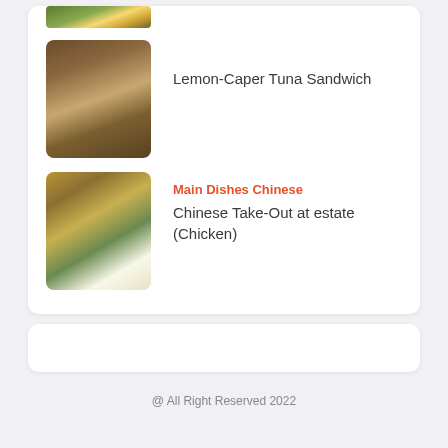[Figure (photo): Partial view of a food dish at the top of the card]
[Figure (photo): Lemon-Caper Tuna Sandwich - a sandwich on dark bread with filling]
Lemon-Caper Tuna Sandwich
Main Dishes Chinese
[Figure (photo): Chinese Take-Out at estate (Chicken) - a bowl of rice with chicken and vegetables]
Chinese Take-Out at estate (Chicken)
@ All Right Reserved 2022